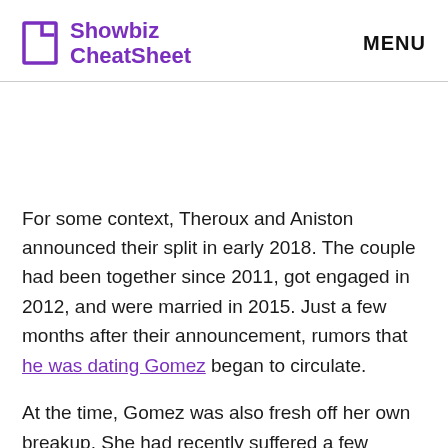Showbiz CheatSheet  MENU
For some context, Theroux and Aniston announced their split in early 2018. The couple had been together since 2011, got engaged in 2012, and were married in 2015. Just a few months after their announcement, rumors that he was dating Gomez began to circulate.
At the time, Gomez was also fresh off her own breakup. She had recently suffered a...